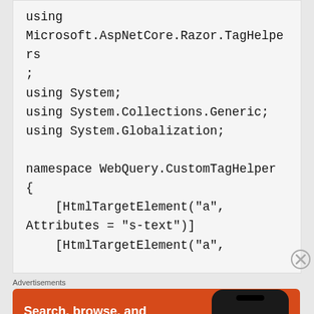using
Microsoft.AspNetCore.Razor.TagHelpers
;
using System;
using System.Collections.Generic;
using System.Globalization;

namespace WebQuery.CustomTagHelper
{
    [HtmlTargetElement("a",
Attributes = "s-text")]
    [HtmlTargetElement("a",
[Figure (other): Close/dismiss button (circled X)]
Advertisements
[Figure (infographic): DuckDuckGo advertisement banner: orange background with text 'Search, browse, and email with more privacy. All in One Free App' and an image of a smartphone showing the DuckDuckGo logo.]